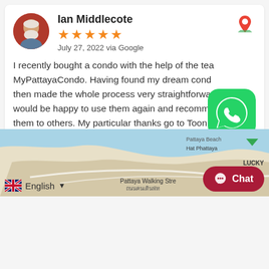Ian Middlecote
★★★★★
July 27, 2022 via Google
I recently bought a condo with the help of the team at MyPattayaCondo. Having found my dream condo they then made the whole process very straightforward. I would be happy to use them again and recommend them to others. My particular thanks go to Toon for guiding and helping... Read more
[Figure (logo): WhatsApp icon - green rounded square with white phone handset]
Office Location
[Figure (map): Google Maps partial view showing Pattaya area with Pattaya Walking Street, Hat Phattaya, LUCKY label visible]
English
Chat